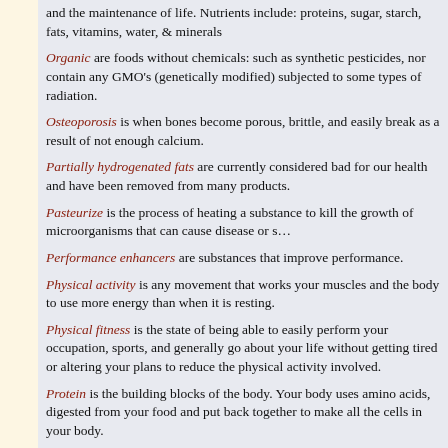and the maintenance of life. Nutrients include: proteins, sugar, starch, fats, vitamins, water, & minerals
Organic are foods without chemicals: such as synthetic pesticides, nor contain any GMO's (genetically modified) subjected to some types of radiation.
Osteoporosis is when bones become porous, brittle, and easily break as a result of not enough calcium.
Partially hydrogenated fats are currently considered bad for our health and have been removed from many products.
Pasteurize is the process of heating a substance to kill the growth of microorganisms that can cause disease or spoilage.
Performance enhancers are substances that improve performance.
Physical activity is any movement that works your muscles and the body to use more energy than when it is resting.
Physical fitness is the state of being able to easily perform your occupation, sports, and generally go about your life without getting tired or altering your plans to reduce the physical activity involved.
Protein is the building blocks of the body. Your body uses amino acids, digested from your food and put back together to make all the cells in your body.